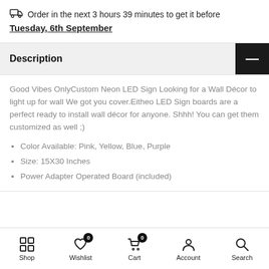Order in the next 3 hours 39 minutes to get it before Tuesday, 6th September
Description
Good Vibes OnlyCustom Neon LED Sign Looking for a Wall Décor to light up for wall We got you cover.Eitheo LED Sign boards are a perfect ready to install wall décor for anyone. Shhh! You can get them customized as well ;)
Color Available: Pink, Yellow, Blue, Purple
Size: 15X30 Inches
Power Adapter Operated Board (included)
Shop  Wishlist  Cart  Account  Search